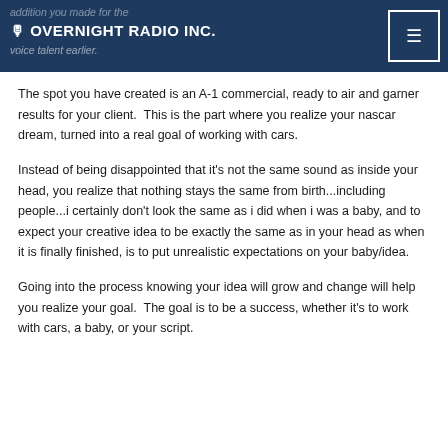🎙 OVERNIGHT RADIO INC.
The spot you have created is an A-1 commercial, ready to air and garner results for your client.  This is the part where you realize your nascar dream, turned into a real goal of working with cars.
Instead of being disappointed that it's not the same sound as inside your head, you realize that nothing stays the same from birth...including people...i certainly don't look the same as i did when i was a baby, and to expect your creative idea to be exactly the same as in your head as when it is finally finished, is to put unrealistic expectations on your baby/idea.
Going into the process knowing your idea will grow and change will help you realize your goal.  The goal is to be a success, whether it's to work with cars, a baby, or your script.